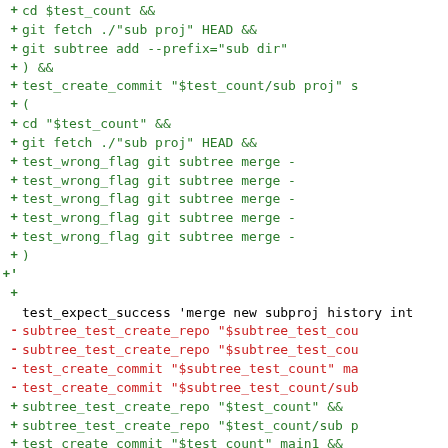[Figure (screenshot): A git diff code block showing additions (green +) and deletions (red -) of shell script lines involving git subtree, test_create_commit, and test_expect_success commands.]